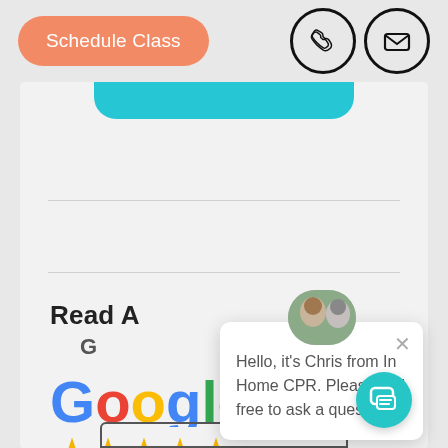[Figure (screenshot): Website screenshot showing a navigation bar with an orange 'Schedule Class' button and phone/email icon buttons, a teal button partially visible, dividers, a 'Read A... G...' section heading, Google logo with 5 gold stars, and a chat popup widget saying 'Hello, it's Chris from In Home CPR. Please feel free to ask a question.']